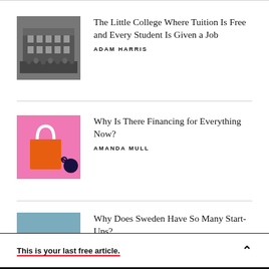[Figure (photo): Black and white photograph of a college building with a large crowd of students gathered in front]
The Little College Where Tuition Is Free and Every Student Is Given a Job
ADAM HARRIS
[Figure (illustration): Pink background illustration with an orange shopping bag and a dark chain attached to a ball]
Why Is There Financing for Everything Now?
AMANDA MULL
[Figure (photo): Photo of people in a modern industrial or startup workspace, blue-toned interior]
Why Does Sweden Have So Many Start-Ups?
This is your last free article.